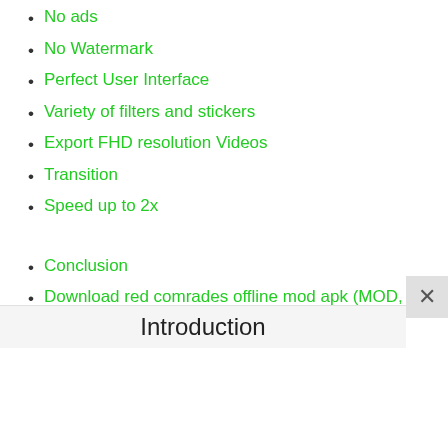No ads
No Watermark
Perfect User Interface
Variety of filters and stickers
Export FHD resolution Videos
Transition
Speed up to 2x
Conclusion
Download red comrades offline mod apk (MOD, APK v2.2106.2100)
Introduction